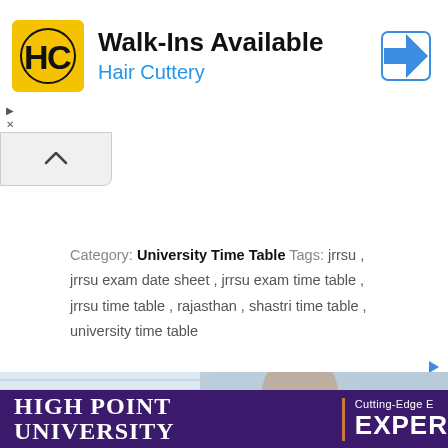[Figure (screenshot): Hair Cuttery advertisement banner with yellow HC logo, 'Walk-Ins Available' heading, 'Hair Cuttery' subtitle in blue, and blue navigation arrow icon on the right]
[Figure (screenshot): Collapse/chevron-up button below the ad banner]
Category: University Time Table Tags: jrrsu , jrrsu exam date sheet , jrrsu exam time table , jrrsu time table , rajasthan , shastri time table , university time table
[Figure (screenshot): Ad indicator icon (play/triangle) on the right side]
[Figure (photo): Partial photo of a person bending over, visible from behind, with window blinds in background]
[Figure (screenshot): High Point University advertisement banner with purple background, white serif text 'HIGH POINT UNIVERSITY' and 'Cutting-Edge [text cut off]' with 'EXPER[text cut off]' in large white letters, with orange accent border]